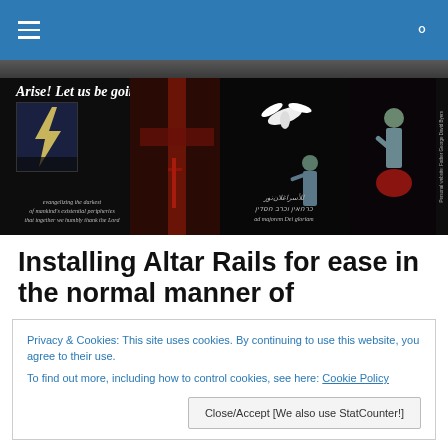Navigation bar with hamburger menu and search icon
[Figure (photo): Website banner with black background showing text 'Arise! Let us be going!', a lightning photo, a bloody cross image, a dove in flight, and a person holding something. Italic text reads 'evangelizing the darkest of mankind's existential peripheries that together we humbly thank the Lord' and Arabic/Hebrew text with 'ad majorem Dei gloriam'. Vertical text on right reads 'Personal website: Father George David Byers']
Installing Altar Rails for ease in the normal manner of
Privacy & Cookies: This site uses cookies. By continuing to use this website, you agree to their use.
To find out more, including how to control cookies, see here: Cookie Policy
Close/Accept [We also use StatCounter!]